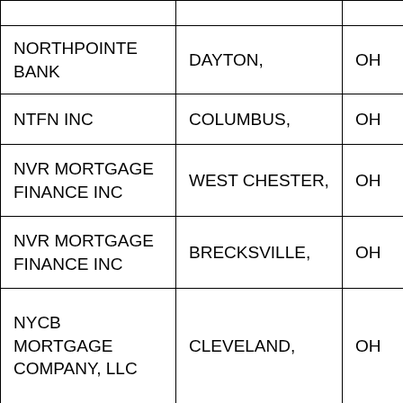|  |  |  |
| NORTHPOINTE BANK | DAYTON, | OH |
| NTFN INC | COLUMBUS, | OH |
| NVR MORTGAGE FINANCE INC | WEST CHESTER, | OH |
| NVR MORTGAGE FINANCE INC | BRECKSVILLE, | OH |
| NYCB MORTGAGE COMPANY, LLC | CLEVELAND, | OH |